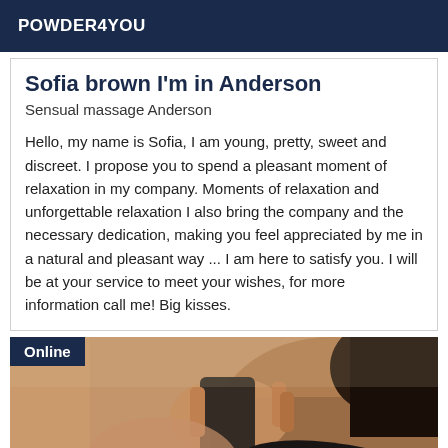POWDER4YOU
Sofia brown I'm in Anderson
Sensual massage Anderson
Hello, my name is Sofia, I am young, pretty, sweet and discreet. I propose you to spend a pleasant moment of relaxation in my company. Moments of relaxation and unforgettable relaxation I also bring the company and the necessary dedication, making you feel appreciated by me in a natural and pleasant way ... I am here to satisfy you. I will be at your service to meet your wishes, for more information call me! Big kisses.
[Figure (photo): Photo of a person taking a selfie, partially obscured, with Online badge overlay in top-left corner]